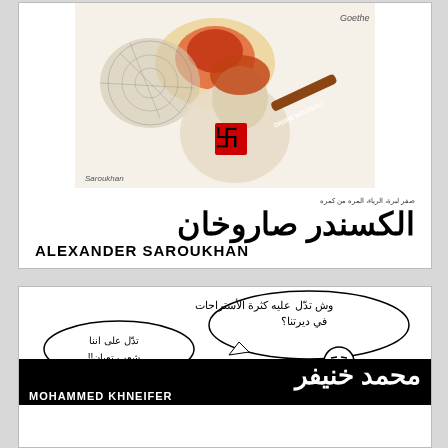[Figure (illustration): Anti-fascist political cartoon showing a figure with a swastika armband holding a burning torch, with text 'ORDRE NOUVEAU' visible. Signed by Alexander Saroukhan.]
الكسندر صاروخان
ALEXANDER SAROUKHAN
[Figure (illustration): Arabic comic strip cartoon by Mohammed Khneifer showing two characters with speech bubbles in Arabic. One bubble reads 'وش تدل عليه كثرة الأستراحات في ديرتنا؟' and the other reads 'تدل على اننا شعب تعبان!!' A man reading a newspaper is also shown.]
محمد خنيفر
MOHAMMED KHNEIFER